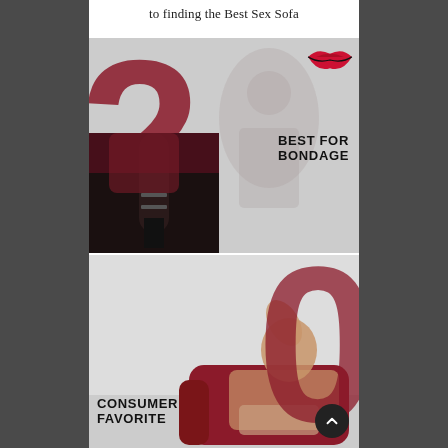to finding the Best Sex Sofa
[Figure (illustration): Section labeled 'BEST FOR BONDAGE' with a large dark red number 2 overlay, a red lips icon in top right corner, and a dark photo of lingerie/stockings in the lower left portion. Background shows a faded figure.]
BEST FOR BONDAGE
[Figure (photo): Section labeled 'CONSUMER FAVORITE' with a large dark red number 0 overlay and a photo of a woman reclining on a dark red sofa/chair in lingerie.]
CONSUMER FAVORITE